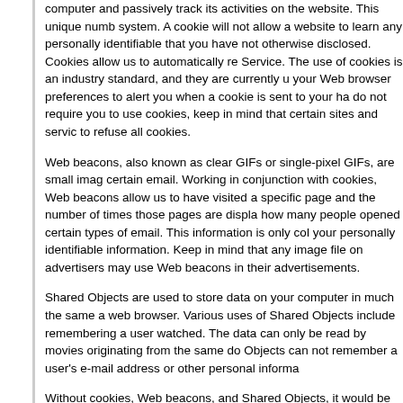computer and passively track its activities on the website. This unique numb system. A cookie will not allow a website to learn any personally identifiable that you have not otherwise disclosed. Cookies allow us to automatically re Service. The use of cookies is an industry standard, and they are currently u your Web browser preferences to alert you when a cookie is sent to your ha do not require you to use cookies, keep in mind that certain sites and servic to refuse all cookies.
Web beacons, also known as clear GIFs or single-pixel GIFs, are small imag certain email. Working in conjunction with cookies, Web beacons allow us to have visited a specific page and the number of times those pages are displa how many people opened certain types of email. This information is only col your personally identifiable information. Keep in mind that any image file on advertisers may use Web beacons in their advertisements.
Shared Objects are used to store data on your computer in much the same a web browser. Various uses of Shared Objects include remembering a user watched. The data can only be read by movies originating from the same do Objects can not remember a user's e-mail address or other personal informa
Without cookies, Web beacons, and Shared Objects, it would be difficult for than others, or to offer you all the services and functionality that we do. Trac when to launch new services and enhance the current offerings.
LiveATC.net lets other companies that show advertisements on some of our connection with the LiveATC.net Service set and access their cookies on yo is subject to their own privacy policies, not this one. Advertisers or other con cookies.